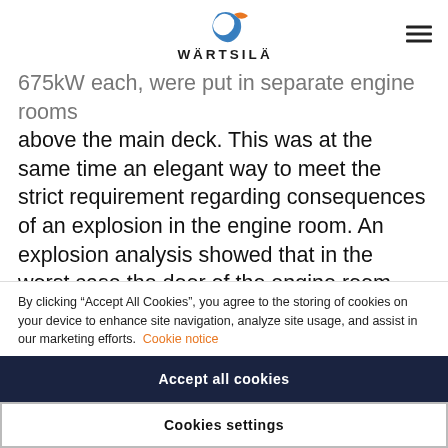WÄRTSILÄ
675kW each, were put in separate engine rooms above the main deck. This was at the same time an elegant way to meet the strict requirement regarding consequences of an explosion in the engine room. An explosion analysis showed that in the worst case the door of the engine room would burst and immediately release the pressure without affect the other engine rooms. The engine room are arranged two and two, with the main switchboard for the electric power,
By clicking “Accept All Cookies”, you agree to the storing of cookies on your device to enhance site navigation, analyze site usage, and assist in our marketing efforts. Cookie notice
Accept all cookies
Cookies settings